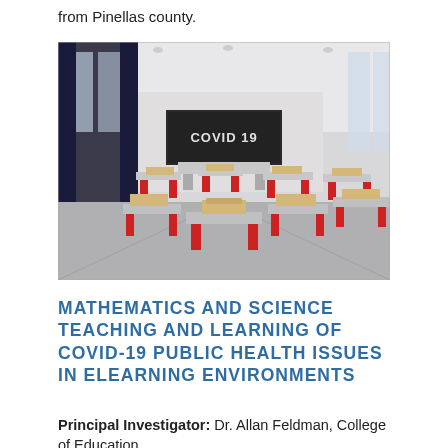from Pinellas county.
[Figure (photo): Empty classroom with red-legged desks and chairs, a chalkboard at the front reading 'COVID 19', large windows on the left side, and recessed ceiling lights. Modern school interior rendered in 3D.]
MATHEMATICS AND SCIENCE TEACHING AND LEARNING OF COVID-19 PUBLIC HEALTH ISSUES IN ELEARNING ENVIRONMENTS
Principal Investigator: Dr. Allan Feldman, College of Education.